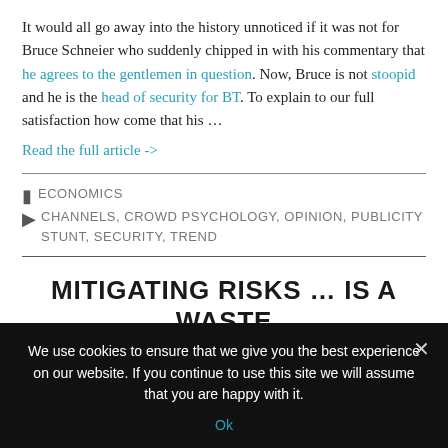It would all go away into the history unnoticed if it was not for Bruce Schneier who suddenly chipped in with his commentary that he agrees to the gentlemen in question. Now, Bruce is not stoopid and he is the head of security for BT. To explain to our full satisfaction how come that his …
Read the full article ->
ECONOMICS | CHANNELS, CROWD PSYCHOLOGY, OPINION, PUBLICITY STUNT, SECURITY, TREND
MITIGATING RISKS … IS A WASTE
We use cookies to ensure that we give you the best experience on our website. If you continue to use this site we will assume that you are happy with it.
Ok